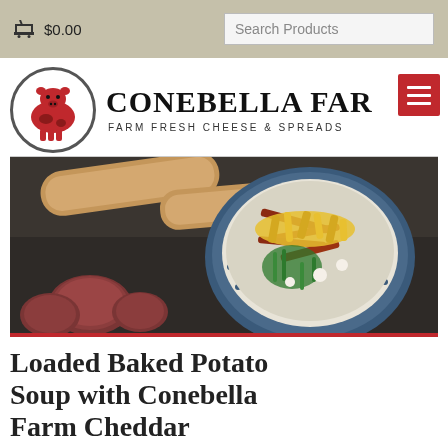🛒 $0.00   Search Products
[Figure (logo): Conebella Farm logo with a red cow illustration in a circle and the text CONEBELLA FARM - FARM FRESH CHEESE & SPREADS]
[Figure (photo): A bowl of loaded baked potato soup garnished with shredded cheddar cheese, bacon bits, and green onions, served in a blue bowl, with red potatoes and bread in the background on a dark surface]
Loaded Baked Potato Soup with Conebella Farm Cheddar